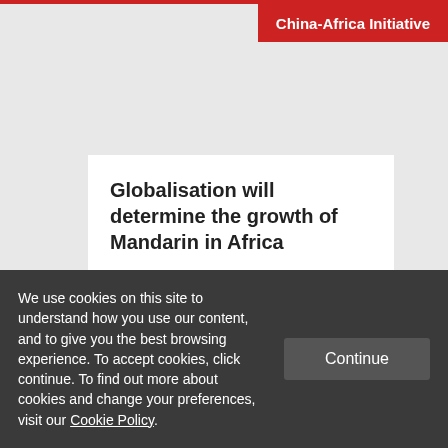China-Africa Initiative
Globalisation will determine the growth of Mandarin in Africa
JUNE 21ST, 2021    2 ...
We use cookies on this site to understand how you use our content, and to give you the best browsing experience. To accept cookies, click continue. To find out more about cookies and change your preferences, visit our Cookie Policy.